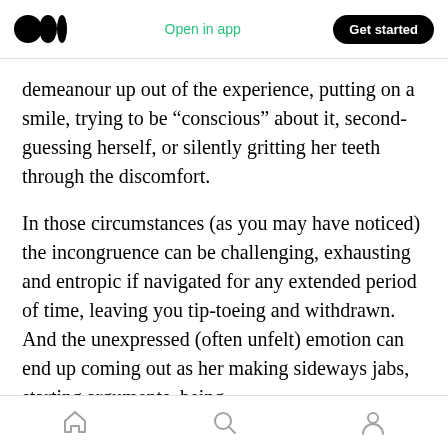Medium logo | Open in app | Get started
demeanour up out of the experience, putting on a smile, trying to be “conscious” about it, second-guessing herself, or silently gritting her teeth through the discomfort.
In those circumstances (as you may have noticed) the incongruence can be challenging, exhausting and entropic if navigated for any extended period of time, leaving you tip-toeing and withdrawn. And the unexpressed (often unfelt) emotion can end up coming out as her making sideways jabs, starting arguments, being
Home | Search | Profile